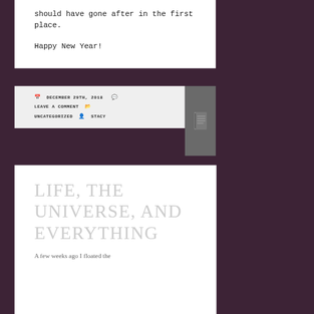should have gone after in the first place.
Happy New Year!
DECEMBER 29TH, 2018   LEAVE A COMMENT   UNCATEGORIZED   STACY
LIFE, THE UNIVERSE, AND EVERYTHING
A few weeks ago I floated the